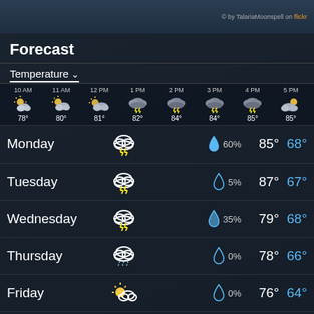© by TalariaMoonspell on flickr
Forecast
Temperature ⌄
[Figure (infographic): Hourly weather forecast strip showing 8 time slots (10 AM to 5 PM) with weather icons and temperatures: 10 AM partly cloudy 78°, 11 AM partly cloudy 80°, 12 PM partly sunny 81°, 1 PM thunderstorm 82°, 2 PM thunderstorm 84°, 3 PM thunderstorm 84°, 4 PM thunderstorm 85°, 5 PM partly cloudy 85°]
| Day | Icon | Precip% | High | Low |
| --- | --- | --- | --- | --- |
| Monday | thunderstorm | 60% | 85° | 68° |
| Tuesday | thunderstorm | 5% | 87° | 67° |
| Wednesday | thunderstorm | 35% | 79° | 68° |
| Thursday | rain cloud | 0% | 78° | 66° |
| Friday | partly sunny | 0% | 76° | 64° |
| Saturday | rain cloud | 15% | 77° | 63° |
| Sunday | rain cloud | 0% | 80° | 65° |